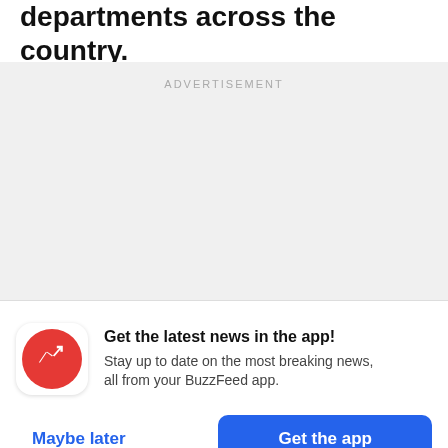departments across the country.
[Figure (other): Advertisement placeholder block with grey background and 'ADVERTISEMENT' label]
[Figure (infographic): BuzzFeed app notification prompt with red circular logo icon (white trending arrow), bold title 'Get the latest news in the app!', body text 'Stay up to date on the most breaking news, all from your BuzzFeed app.', 'Maybe later' text button in blue, and 'Get the app' blue filled button]
Get the latest news in the app! Stay up to date on the most breaking news, all from your BuzzFeed app.
Maybe later
Get the app